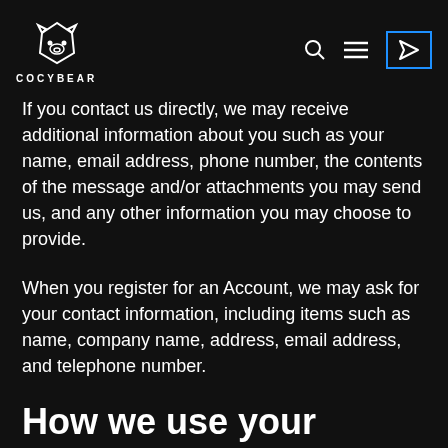COCYBEAR
If you contact us directly, we may receive additional information about you such as your name, email address, phone number, the contents of the message and/or attachments you may send us, and any other information you may choose to provide.
When you register for an Account, we may ask for your contact information, including items such as name, company name, address, email address, and telephone number.
How we use your information